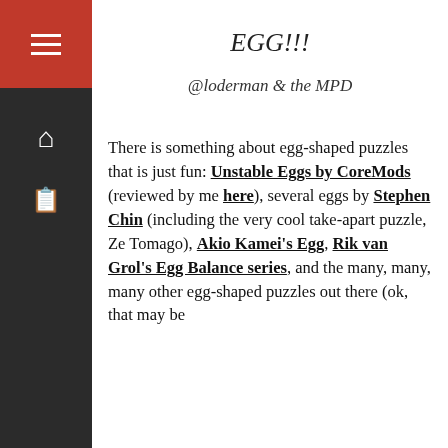EGG!!!
@loderman & the MPD
There is something about egg-shaped puzzles that is just fun: Unstable Eggs by CoreMods (reviewed by me here), several eggs by Stephen Chin (including the very cool take-apart puzzle, Ze Tomago), Akio Kamei's Egg, Rik van Grol's Egg Balance series, and the many, many, many other egg-shaped puzzles out there (ok, that may be